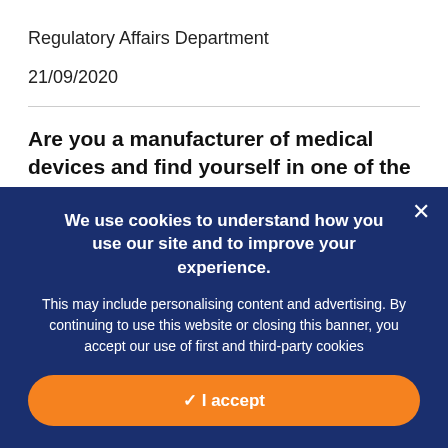Regulatory Affairs Department
21/09/2020
Are you a manufacturer of medical devices and find yourself in one of the groups impacted by these changes? Are you unsure as to what the impact on your business will be?
We use cookies to understand how you use our site and to improve your experience.
This may include personalising content and advertising. By continuing to use this website or closing this banner, you accept our use of first and third-party cookies
✓ I accept